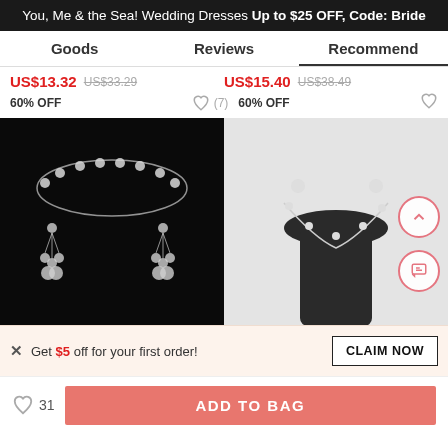You, Me & the Sea! Wedding Dresses Up to $25 OFF, Code: Bride
Goods | Reviews | Recommend
US$13.32  US$33.29  60% OFF  (7)  US$15.40  US$38.49  60% OFF
[Figure (photo): Jewelry set with necklace and chandelier earrings on black background]
[Figure (photo): Flower clover necklace and earrings set displayed on a dark mannequin bust, light grey background]
× Get $5 off for your first order!   CLAIM NOW
♡ 31  ADD TO BAG